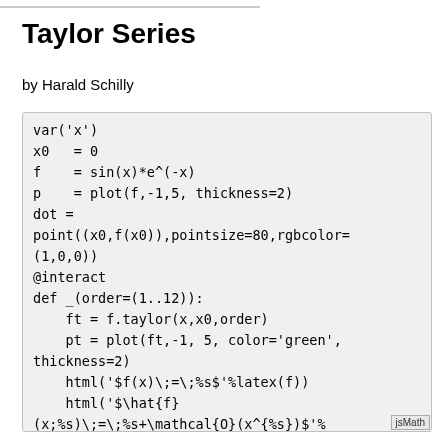Taylor Series
by Harald Schilly
var('x')
x0   = 0
f    = sin(x)*e^(-x)
p    = plot(f,-1,5, thickness=2)
dot =
point((x0,f(x0)),pointsize=80,rgbcolor=
(1,0,0))
@interact
def _(order=(1..12)):
    ft = f.taylor(x,x0,order)
    pt = plot(ft,-1, 5, color='green',
thickness=2)
    html('$f(x)\;=\;%s$'%latex(f))
    html('$\hat{f}
(x;%s)\;=\;%s+\mathcal{O}(x^{%s})$'%
(x0,latex(ft),order+1))
    show(dot + p + pt, ymin = -.5, ymax
= 1)